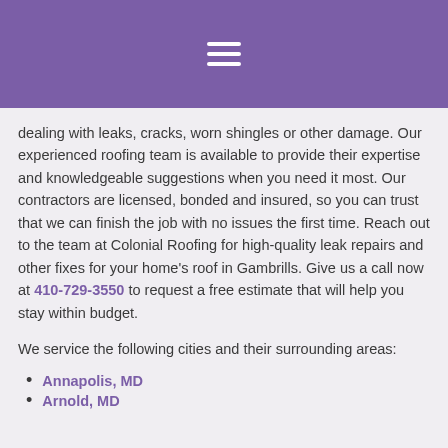≡
dealing with leaks, cracks, worn shingles or other damage. Our experienced roofing team is available to provide their expertise and knowledgeable suggestions when you need it most. Our contractors are licensed, bonded and insured, so you can trust that we can finish the job with no issues the first time. Reach out to the team at Colonial Roofing for high-quality leak repairs and other fixes for your home's roof in Gambrills. Give us a call now at 410-729-3550 to request a free estimate that will help you stay within budget.
We service the following cities and their surrounding areas:
Annapolis, MD
Arnold, MD